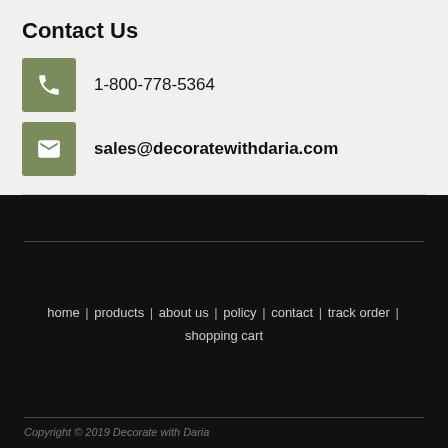Contact Us
1-800-778-5364
sales@decoratewithdaria.com
home | products | about us | policy | contact | track order | shopping cart
Copyright © 2019 Decorate with Daria
Ecommerce Software Powered by Vendio | Privacy Policy